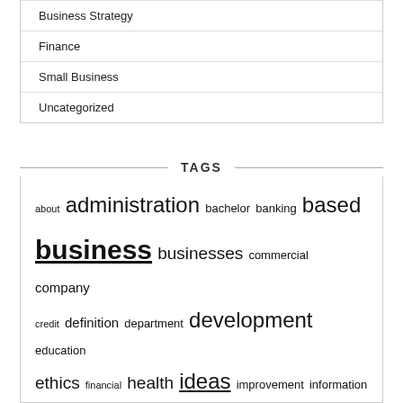Business Strategy
Finance
Small Business
Uncategorized
TAGS
about administration bachelor banking based business businesses commercial company credit definition department development education ethics financial health ideas improvement information insurance intelligence international loans management market marketing masters meaning microsoft mobile online opportunities programme